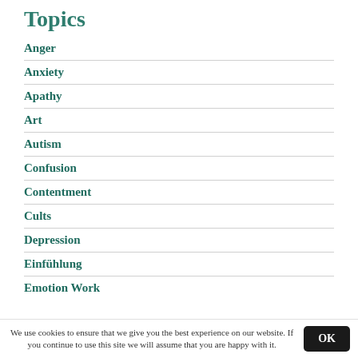Topics
Anger
Anxiety
Apathy
Art
Autism
Confusion
Contentment
Cults
Depression
Einfühlung
Emotion Work
We use cookies to ensure that we give you the best experience on our website. If you continue to use this site we will assume that you are happy with it.